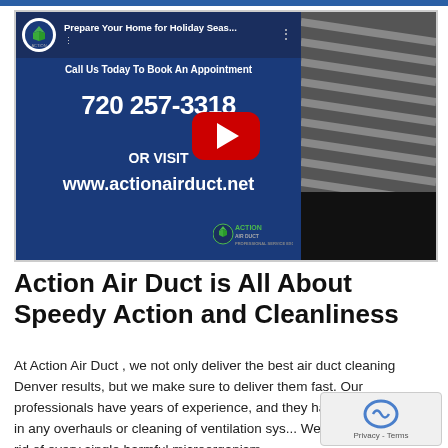[Figure (screenshot): YouTube video thumbnail for Action Air Duct showing a video titled 'Prepare Your Home for Holiday Seas...' with a play button overlay. Left side is dark blue with text: 'Call Us Today To Book An Appointment', '720 257-3318', 'OR VISIT', 'www.actionairduct.net'. Right side shows a grayscale image of ventilation slats. Action Air Duct logo visible in bottom right.]
Action Air Duct is All About Speedy Action and Cleanliness
At Action Air Duct , we not only deliver the best air duct cleaning Denver results, but we make sure to deliver them fast. Our professionals have years of experience, and they have full proficiency in any overhauls or cleaning of ventilation sys... We make sure to get rid of every single harmful microorganism...